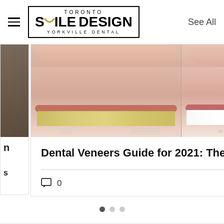[Figure (logo): Toronto Smile Design Yorkville Dental logo with border, hamburger menu icon on left]
See All
[Figure (photo): Before and after dental veneer comparison photo showing yellowed/misaligned teeth on left versus white aligned teeth on right, with watermarks including DSD logo and Dr. Savi signature]
Dental Veneers Guide for 2021: The Cost,...
0
19